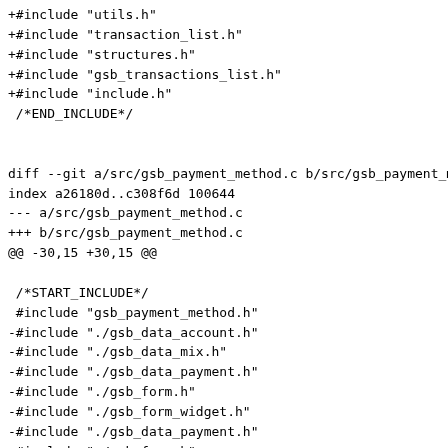+#include "utils.h"
+#include "transaction_list.h"
+#include "structures.h"
+#include "gsb_transactions_list.h"
+#include "include.h"
 /*END_INCLUDE*/


diff --git a/src/gsb_payment_method.c b/src/gsb_payment_m
index a26180d..c308f6d 100644
--- a/src/gsb_payment_method.c
+++ b/src/gsb_payment_method.c
@@ -30,15 +30,15 @@

 /*START_INCLUDE*/
 #include "gsb_payment_method.h"
-#include "./gsb_data_account.h"
-#include "./gsb_data_mix.h"
-#include "./gsb_data_payment.h"
-#include "./gsb_form.h"
-#include "./gsb_form_widget.h"
-#include "./gsb_data_payment.h"
-#include "./gsb_form.h"
-#include "./gsb_data_form.h"
-#include "./erreur.h"
+#include "gsb_data_account.h"
+#include "gsb_data_mix.h"
+#include "gsb_data_payment.h"
+#include "gsb_form.h"
+#include "gsb_form_widget.h"